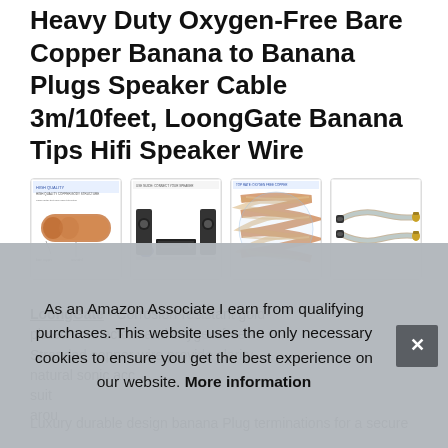Heavy Duty Oxygen-Free Bare Copper Banana to Banana Plugs Speaker Cable 3m/10feet, LoongGate Banana Tips Hifi Speaker Wire
[Figure (photo): Four product thumbnail images: 1) Close-up of copper wire braid/structure diagram, 2) Home theater setup with speakers and AV receiver, 3) Close-up of twisted copper cable strands, 4) Banana plug cable connectors]
LoongGate - Corrosion-resistant gold-plated connectors and oxygen-free Stranded copper wire provide clarity, natural sonic accuracy, suitable for surrounding around
As an Amazon Associate I earn from qualifying purchases. This website uses the only necessary cookies to ensure you get the best experience on our website. More information
Luxury durable design banana Plug terminations for a secure